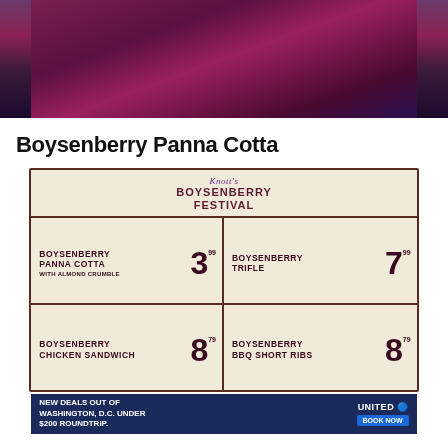[Figure (photo): Close-up photo of a boysenberry dessert, dark purple/maroon colored food item against a purple background]
Boysenberry Panna Cotta
[Figure (photo): Menu board for Knott's Boysenberry Festival showing four items: Boysenberry Panna Cotta with Almond Crumble $3.99, Boysenberry Trifle $7.99, Boysenberry Chicken Sandwich $8.79, Boysenberry BBQ Short Ribs $8.79]
[Figure (other): United Airlines advertisement: New Deals Out of Washington D.C. Under $200 Roundtrip. Book Now button. © 2022 United Airlines, Inc. All rights reserved. Terms apply.]